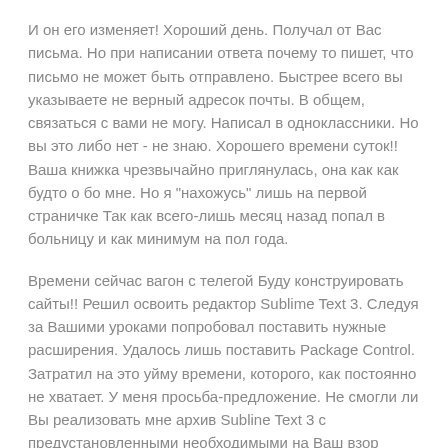И он его изменяет! Хороший день. Получал от Вас письма. Но при написании ответа почему то пишет, что письмо не может быть отправлено. Быстрее всего вы указываете не верный адресок почты. В общем, связаться с вами не могу. Написал в одноклассники. Но вы это либо нет - не знаю. Хорошего времени суток!! Ваша книжка чрезвычайно приглянулась, она как как будто о бо мне. Но я "нахожусь" лишь на первой страничке Так как всего-лишь месяц назад попал в больницу и как минимум на пол года.
Времени сейчас вагон с телегой Буду конструировать сайты!! Решил освоить редактор Sublime Text 3. Следуя за Вашими уроками попробовал поставить нужные расширения. Удалось лишь поставить Package Control. Затратил на это уйму времени, которого, как постоянно не хватает. У меня просьба-предложение. Не смогли ли Вы реализовать мне архив Subline Text 3 с предустановленными необходимыми на Ваш взор расширениями.
Стоимость оставляю на Ваше усмотрение. Предоплату гарантирую. Нашёл ваш видео-урок по созданию меню с